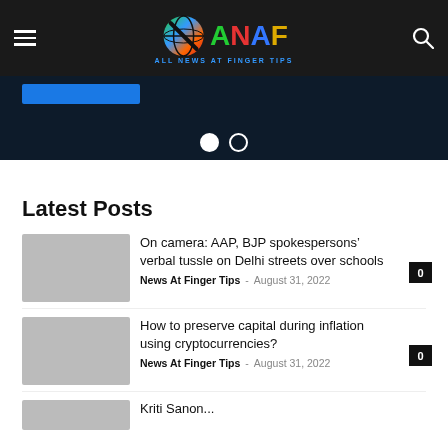ANAF - All News At Finger Tips
[Figure (screenshot): Slider/carousel area with blue button and pagination dots]
Latest Posts
On camera: AAP, BJP spokespersons’ verbal tussle on Delhi streets over schools - News At Finger Tips - August 31, 2022 - 0 comments
How to preserve capital during inflation using cryptocurrencies? - News At Finger Tips - August 31, 2022 - 0 comments
Kriti Sanon...